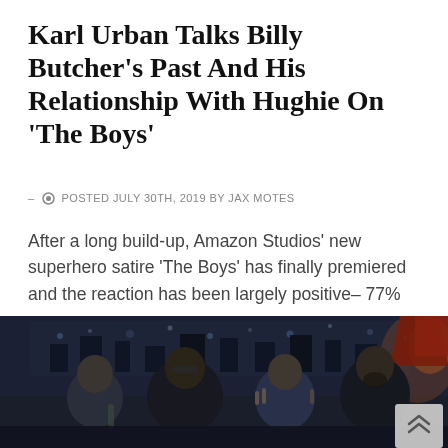Karl Urban Talks Billy Butcher's Past And His Relationship With Hughie On 'The Boys'
– POSTED JULY 30TH, 2019 BY JAX MOTES
After a long build-up, Amazon Studios' new superhero satire 'The Boys' has finally premiered and the reaction has been largely positive– 77% on…
[Figure (photo): Dark promotional photo showing four men posed together, two giving obscene gestures, with a city skyline visible through windows behind them and warm lamp light on the right side.]